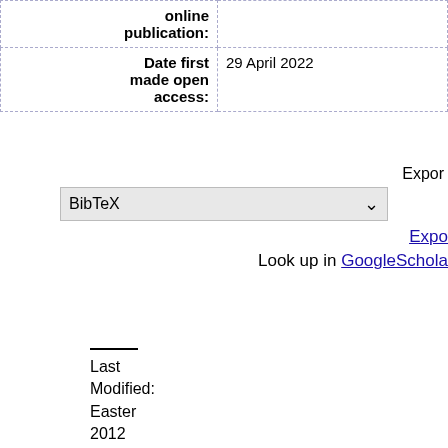| Field | Value |
| --- | --- |
| online publication: |  |
| Date first made open access: | 29 April 2022 |
Export
BibTeX [dropdown]
Export
Look up in GoogleScholar
Last Modified: Easter 2012 | Disclaimer | Trading name